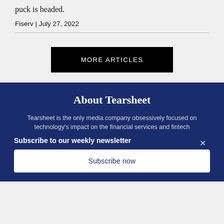puck is headed.
Fiserv | July 27, 2022
MORE ARTICLES
About Tearsheet
Tearsheet is the only media company obsessively focused on technology's impact on the financial services and fintech
Subscribe to our weekly newsletter
Subscribe now